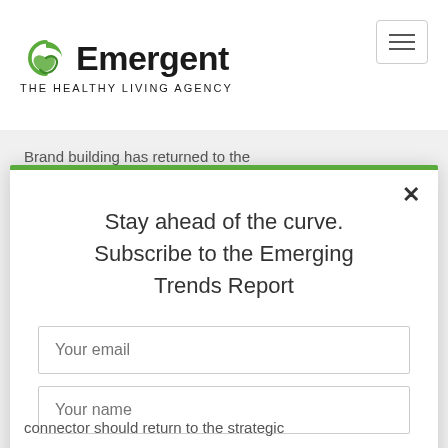[Figure (logo): Emergent - The Healthy Living Agency logo with green swirl icon]
[Figure (other): Hamburger menu button (three horizontal lines) in a rounded rectangle]
Brand building has returned to the
[Figure (screenshot): Modal popup with green top border, close X button, title 'Stay ahead of the curve. Subscribe to the Emerging Trends Report', email input, name input, green Subscribe button, and captcha icon]
connector should return to the strategic